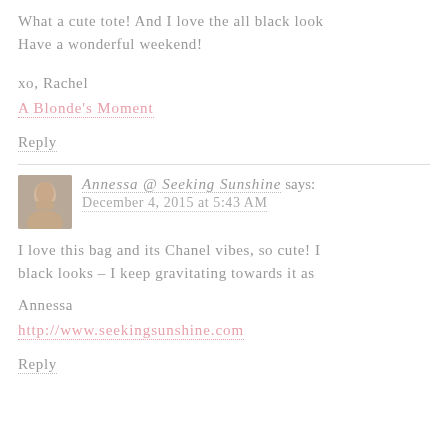What a cute tote! And I love the all black look. Have a wonderful weekend!
xo, Rachel
A Blonde's Moment
Reply
Annessa @ Seeking Sunshine says:
December 4, 2015 at 5:43 AM
I love this bag and its Chanel vibes, so cute! I love all black looks – I keep gravitating towards it as
Annessa
http://www.seekingsunshine.com
Reply